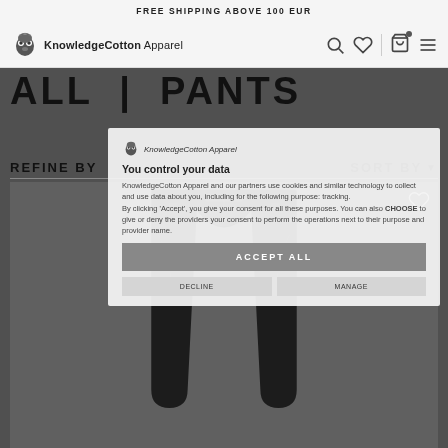FREE SHIPPING ABOVE 100 EUR
[Figure (logo): KnowledgeCotton Apparel owl logo with text]
ALL | PANTS
You control your data
KnowledgeCotton Apparel and our partners use cookies and similar technology to collect and use data about you, including for the following purpose: tracking. By clicking 'Accept', you give your consent for all these purposes. You can also CHOOSE to give or deny the providers your consent to perform the operations next to their purpose and provider name.
ACCEPT ALL
REFINE BY
SORT BY
[Figure (photo): Black pants product photo on dark background]